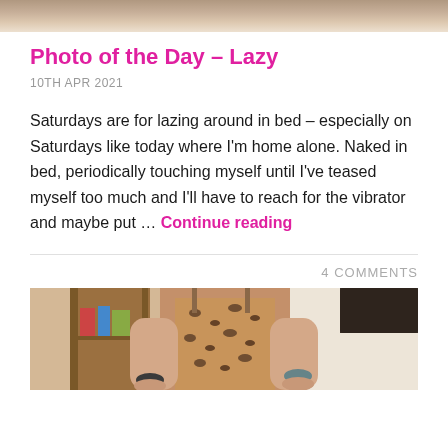[Figure (photo): Top portion of a photo, cropped, showing a light-colored background with skin tones visible at the top edge.]
Photo of the Day – Lazy
10TH APR 2021
Saturdays are for lazing around in bed – especially on Saturdays like today where I'm home alone. Naked in bed, periodically touching myself until I've teased myself too much and I'll have to reach for the vibrator and maybe put … Continue reading
4 COMMENTS
[Figure (photo): Photo of a person wearing a leopard print dress with their hands behind their back, with a wooden bookshelf in the background.]